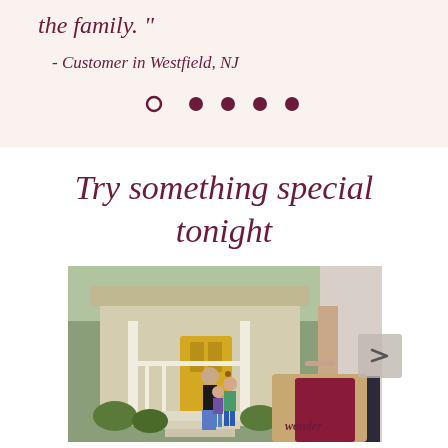the family. "
- Customer in Westfield, NJ
[Figure (other): Carousel navigation dots: one open circle followed by four filled circles in dark maroon/burgundy color]
Try something special tonight
[Figure (photo): A delivery person holding a Wonder-branded paper bag approaches a suburban home. A woman and two children are coming down the porch steps to greet them. The scene is warm and inviting with a yellow door in the background.]